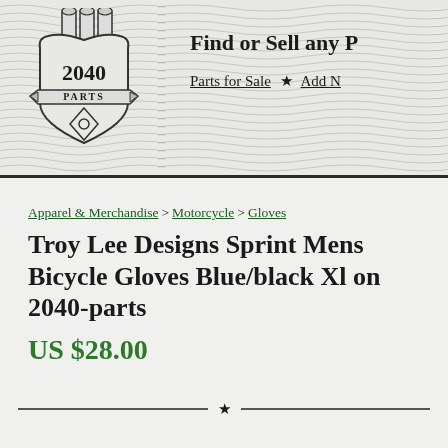[Figure (logo): 2040 Parts logo — a stylized heart/shield shape with pipes at top, the text '2040' and 'PARTS' on a banner ribbon, and a decorative diamond/key shape at the bottom]
Find or Sell any P  Parts for Sale ★ Add N
Apparel & Merchandise > Motorcycle > Gloves
Troy Lee Designs Sprint Mens Bicycle Gloves Blue/black Xl on 2040-parts
US $28.00